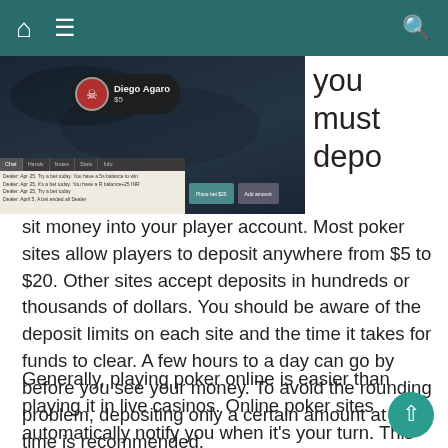Navigation bar with home, menu, and search icons
[Figure (screenshot): Online poker game interface showing player 'Diego Agaro' with $5, a chat/hands/notes/stats/info panel, and game buttons]
you must deposit money into your player account. Most poker sites allow players to deposit anywhere from $5 to $20. Other sites accept deposits in hundreds or thousands of dollars. You should be aware of the deposit limits on each site and the time it takes for funds to clear. A few hours to a day can go by before you see your money. To avoid the rounding problem, depositing only a certain amount at a time is recommended.
Generally, playing poker online is easier than playing it in live casinos. Online poker sites automatically notify you when it's your turn. This feature makes online poker much easier than live gaming, where players may yell at you for holding up the